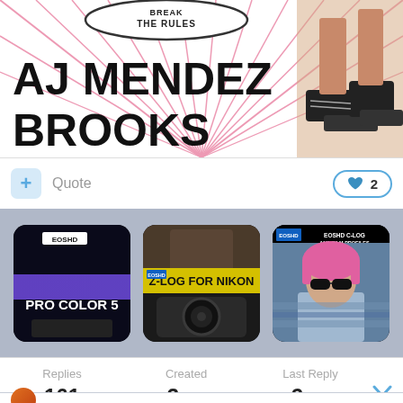[Figure (photo): Book cover image for AJ Mendez Brooks with text 'THE RULES', 'AJ MENDEZ BROOKS' in large bold letters, radiating lines background, person's legs with sneakers visible on right side]
Quote
♥ 2
[Figure (photo): Three advertisement thumbnails side by side: (1) EOSHD Pro Color 5, (2) Z-LOG for Nikon, (3) EOSHD C-LOG and Film Profiles with woman in pink wig]
| Replies | Created | Last Reply |
| --- | --- | --- |
| 161 | 3 yr | 2 yr |
[Figure (photo): Partial avatar circle in orange/red color at bottom left]